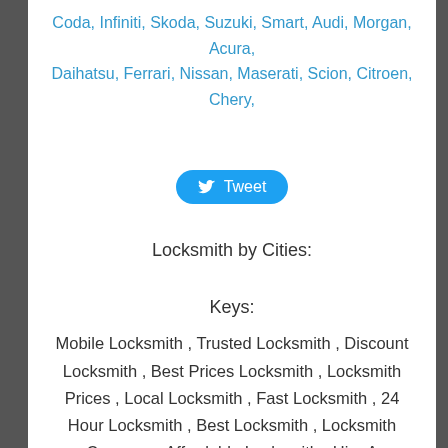Coda, Infiniti, Skoda, Suzuki, Smart, Audi, Morgan, Acura, Daihatsu, Ferrari, Nissan, Maserati, Scion, Citroen, Chery,
[Figure (other): Tweet button with Twitter bird icon]
Locksmith by Cities:
Keys:
Mobile Locksmith , Trusted Locksmith , Discount Locksmith , Best Prices Locksmith , Locksmith Prices , Local Locksmith , Fast Locksmith , 24 Hour Locksmith , Best Locksmith , Locksmith Coupons , Affordable Locksmith , Hire A Locksmith , ASAP Locksmith , Quick Locksmith , Locksmith Near You , Cheap Locksmith , Find